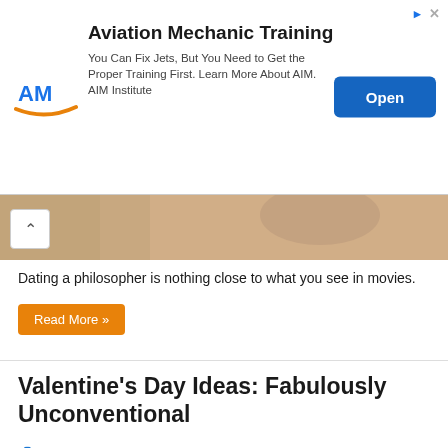[Figure (screenshot): Aviation Mechanic Training advertisement banner with AM logo, text, and blue Open button]
[Figure (photo): Partially visible collapsed article image showing a person, with a collapse arrow button]
Dating a philosopher is nothing close to what you see in movies.
Read More »
Valentine's Day Ideas: Fabulously Unconventional
Carol Bluewood
[Figure (photo): Person holding a banner reading HAPPY VALENTINE'S in red and pink pennant letters]